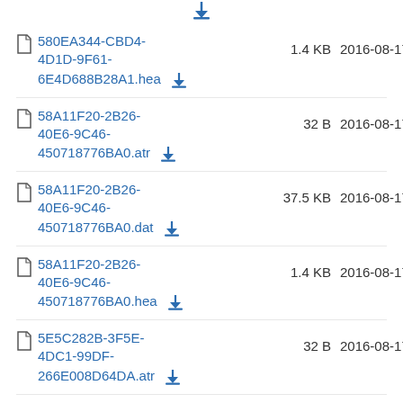580EA344-CBD4-4D1D-9F61-6E4D688B28A1.hea  1.4 KB  2016-08-17
58A11F20-2B26-40E6-9C46-450718776BA0.atr  32 B  2016-08-17
58A11F20-2B26-40E6-9C46-450718776BA0.dat  37.5 KB  2016-08-17
58A11F20-2B26-40E6-9C46-450718776BA0.hea  1.4 KB  2016-08-17
5E5C282B-3F5E-4DC1-99DF-266E008D64DA.atr  32 B  2016-08-17
5E5C282B-3F5E-...